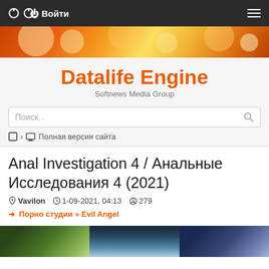Войти  ☰
[Figure (photo): Orange bokeh banner/header image with warm golden-orange tones]
Datalife Engine
Softnews Media Group
Поиск...
Полная версия сайта
Anal Investigation 4 / Анальные Исследования 4 (2021)
Vavilon  1-09-2021, 04:13  279
Порно студии » Evil Angel
[Figure (photo): Thumbnail strip showing partial preview images]